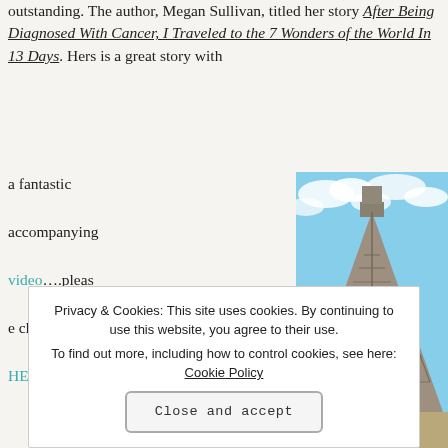outstanding. The author, Megan Sullivan, titled her story After Being Diagnosed With Cancer, I Traveled to the 7 Wonders of the World In 13 Days. Hers is a great story with a fantastic accompanying video….please check it out HERE.
[Figure (photo): A woman standing in front of the El Castillo pyramid at Chichen Itza, Mexico. The pyramid is a large stepped stone structure under a partly cloudy blue sky.]
Privacy & Cookies: This site uses cookies. By continuing to use this website, you agree to their use.
To find out more, including how to control cookies, see here: Cookie Policy
Close and accept